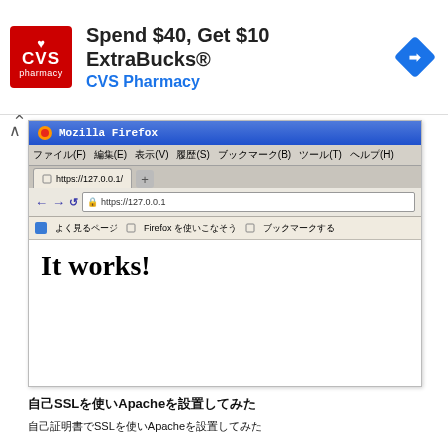[Figure (screenshot): CVS Pharmacy advertisement banner: 'Spend $40, Get $10 ExtraBucks® CVS Pharmacy']
[Figure (screenshot): Mozilla Firefox browser screenshot showing https://127.0.0.1/ with 'It works!' page content]
自己SSLを使いApacheを設置してみた
自己証明書でSSLを使いApacheを設置してみた